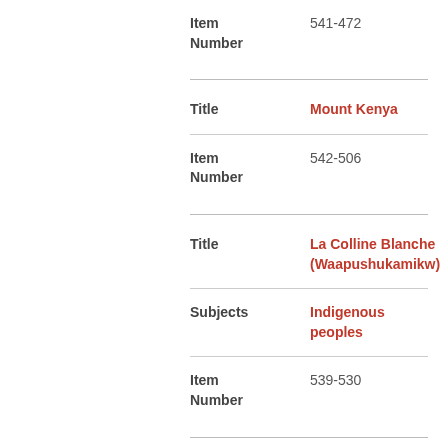Item Number: 541-472
Title: Mount Kenya
Item Number: 542-506
Title: La Colline Blanche (Waapushukamikw)
Subjects: Indigenous peoples
Item Number: 539-530
Title: Silhouettes and mist on hillside
Item Number: 543-200